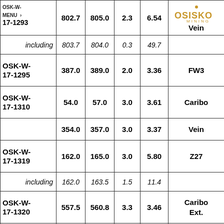| Hole ID | From (m) | To (m) | Width (m) | Au g/t | Zone |
| --- | --- | --- | --- | --- | --- |
| OSK-W-17-1293 (MENU) | 802.7 | 805.0 | 2.3 | 6.54 | Vein |
| including | 803.7 | 804.0 | 0.3 | 49.7 |  |
| OSK-W-17-1295 | 387.0 | 389.0 | 2.0 | 3.36 | FW3 |
| OSK-W-17-1310 | 54.0 | 57.0 | 3.0 | 3.61 | Caribo |
|  | 354.0 | 357.0 | 3.0 | 3.37 | Vein |
| OSK-W-17-1319 | 162.0 | 165.0 | 3.0 | 5.80 | Z27 |
| including | 162.0 | 163.5 | 1.5 | 11.4 |  |
| OSK-W-17-1320 | 557.5 | 560.8 | 3.3 | 3.46 | Caribo Ext. |
| OSK-W-... |  |  |  |  |  |